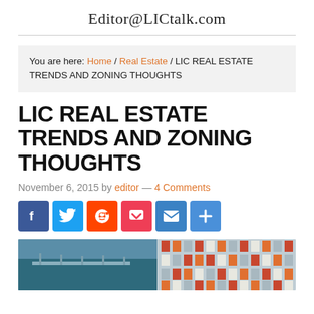Editor@LICtalk.com
You are here: Home / Real Estate / LIC REAL ESTATE TRENDS AND ZONING THOUGHTS
LIC REAL ESTATE TRENDS AND ZONING THOUGHTS
November 6, 2015 by editor — 4 Comments
[Figure (infographic): Social share buttons: Facebook, Twitter, Reddit, Pocket, Email, Share/Plus]
[Figure (photo): Aerial/waterfront photo of LIC with pier and modern apartment building with colorful facade]